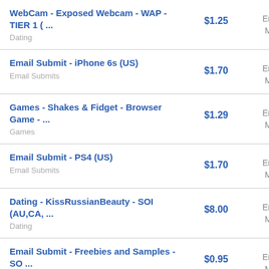| Offer | Price | Network |
| --- | --- | --- |
| WebCam - Exposed Webcam - WAP - TIER 1 ( ...
Dating | $1.25 | Envyus Media |
| Email Submit - iPhone 6s (US)
Email Submits | $1.70 | Envyus Media |
| Games - Shakes & Fidget - Browser Game - ...
Games | $1.29 | Envyus Media |
| Email Submit - PS4 (US)
Email Submits | $1.70 | Envyus Media |
| Dating - KissRussianBeauty - SOI (AU,CA, ...
Dating | $8.00 | Envyus Media |
| Email Submit - Freebies and Samples - SO ...
Email Submits | $0.95 | Envyus Media |